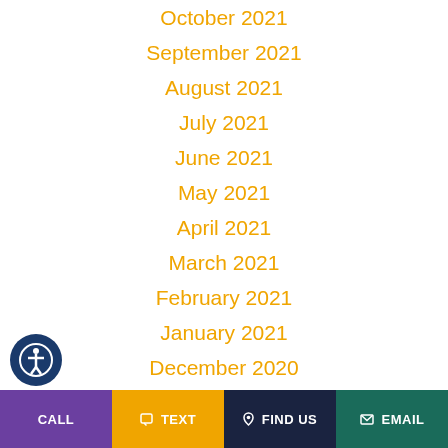October 2021
September 2021
August 2021
July 2021
June 2021
May 2021
April 2021
March 2021
February 2021
January 2021
December 2020
November 2020
October 2020
September 2020
CALL  TEXT  FIND US  EMAIL